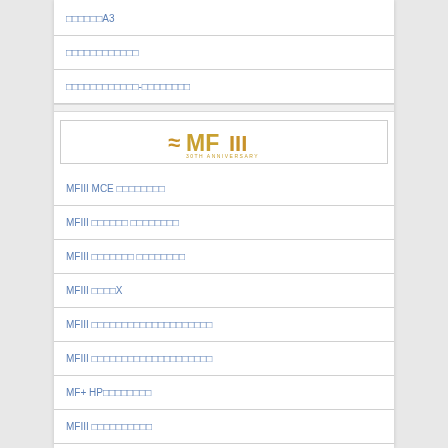□□□□□□A3
□□□□□□□□□□□□
□□□□□□□□□□□□-□□□□□□□□
[Figure (logo): MFIII 30th Anniversary logo with wave symbol]
MFIII MCE □□□□□□□□
MFIII □□□□□□ □□□□□□□□
MFIII □□□□□□□ □□□□□□□□
MFIII □□□□X
MFIII □□□□□□□□□□□□□□□□□□□□
MFIII □□□□□□□□□□□□□□□□□□□□
MF+ HP□□□□□□□□
MFIII □□□□□□□□□□
MFIII □□□□□□□□□□□□□AF2